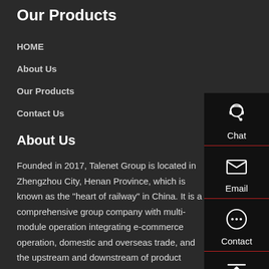Our Products
HOME
About Us
Our Products
Contact Us
About Us
Founded in 2017, Talenet Group is located in Zhengzhou City, Henan Province, which is known as the "heart of railway" in China. It is a comprehensive group company with multi-module operation integrating e-commerce operation, domestic and overseas trade, and the upstream and downstream of product supply chain.
Contact Us
Phone :